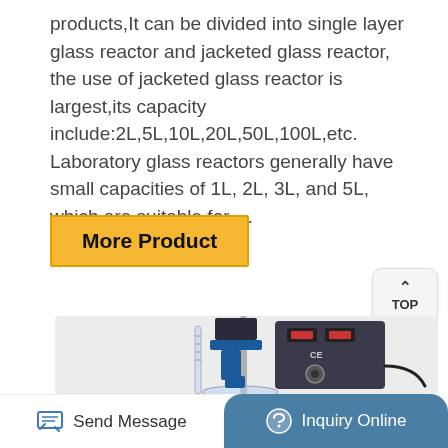products,It can be divided into single layer glass reactor and jacketed glass reactor, the use of jacketed glass reactor is largest,its capacity include:2L,5L,10L,20L,50L,100L,etc. Laboratory glass reactors generally have small capacities of 1L, 2L, 3L, and 5L, which are suitable for …
More Product
[Figure (photo): Laboratory glass reactor equipment with control panel showing digital displays, CE marking, motor, clamps, and glass vessel components mounted on a stand]
Send Message
Inquiry Online